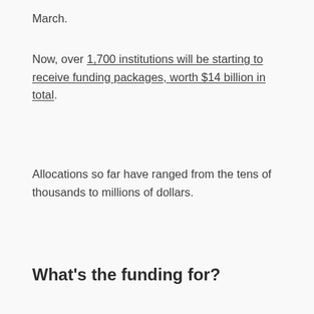March.
Now, over 1,700 institutions will be starting to receive funding packages, worth $14 billion in total.
Allocations so far have ranged from the tens of thousands to millions of dollars.
What's the funding for?